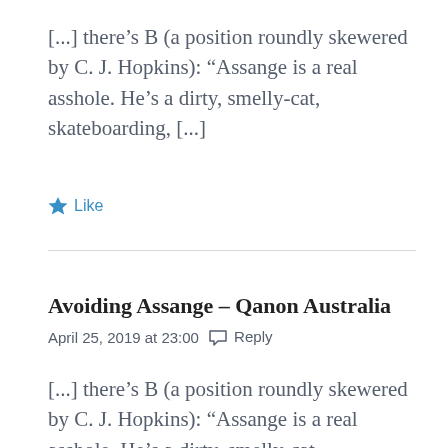[...] there's B (a position roundly skewered by C. J. Hopkins): “Assange is a real asshole. He’s a dirty, smelly-cat, skateboarding, [...]
★ Like
Avoiding Assange – Qanon Australia
April 25, 2019 at 23:00   💬 Reply
[...] there's B (a position roundly skewered by C. J. Hopkins): “Assange is a real asshole. He’s a dirty, smelly-cat, skateboarding, [...]